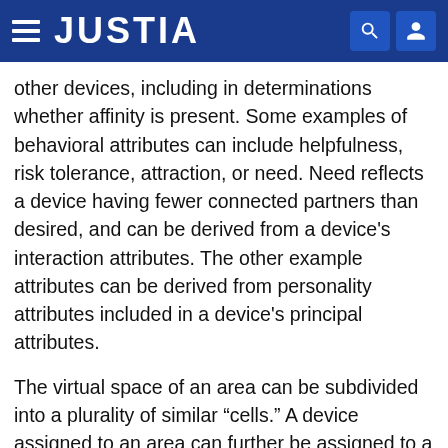JUSTIA
other devices, including in determinations whether affinity is present. Some examples of behavioral attributes can include helpfulness, risk tolerance, attraction, or need. Need reflects a device having fewer connected partners than desired, and can be derived from a device's interaction attributes. The other example attributes can be derived from personality attributes included in a device's principal attributes.
The virtual space of an area can be subdivided into a plurality of similar “cells.” A device assigned to an area can further be assigned to a particular cell of that area, and can travel among the cells of its area. Devices within a common cell can interact, determine affinity, develop relationships, or establish connections. Cells can provide scalability of an area, by reducing the population of candidate devices available for interaction